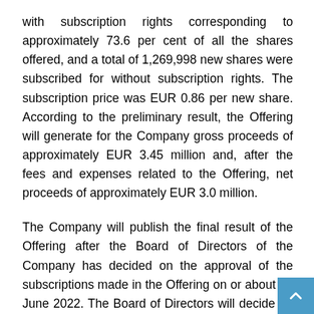with subscription rights corresponding to approximately 73.6 per cent of all the shares offered, and a total of 1,269,998 new shares were subscribed for without subscription rights. The subscription price was EUR 0.86 per new share. According to the preliminary result, the Offering will generate for the Company gross proceeds of approximately EUR 3.45 million and, after the fees and expenses related to the Offering, net proceeds of approximately EUR 3.0 million.
The Company will publish the final result of the Offering after the Board of Directors of the Company has decided on the approval of the subscriptions made in the Offering on or about 15 June 2022. The Board of Directors will decide on the approval of the subscriptions according to the terms and conditions of the Offering, including without limitation the allocation principles set out therein. The number of shares in the Company can increase by a maximum of 4,010,458 shares